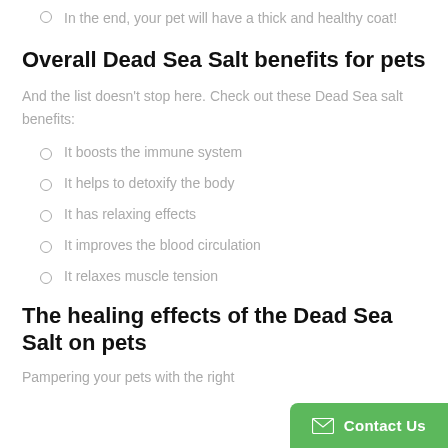In the end, your pet will have a thick and healthy coat!
Overall Dead Sea Salt benefits for pets
And the list doesn't stop here. Check out these Dead Sea salt benefits:
It boosts the immune system
It helps to detoxify the body
It has relaxing effects
It improves the blood circulation
It relaxes muscle tension
The healing effects of the Dead Sea Salt on pets
Pampering your pets with the right